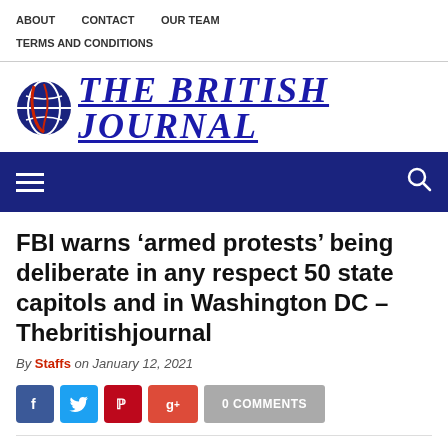ABOUT   CONTACT   OUR TEAM   TERMS AND CONDITIONS
[Figure (logo): The British Journal logo with globe icon and bold blue italic serif text]
[Figure (other): Dark blue navigation bar with hamburger menu icon on left and search icon on right]
FBI warns ‘armed protests’ being deliberate in any respect 50 state capitols and in Washington DC – Thebritishjournal
By Staffs on January 12, 2021
0 COMMENTS